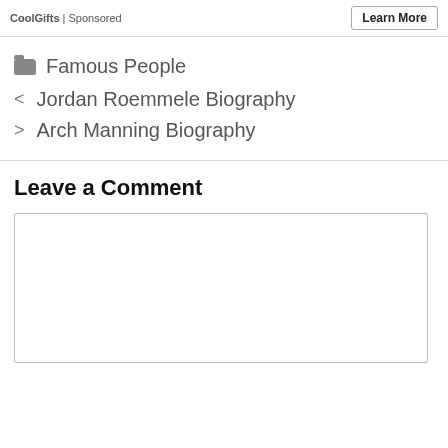CoolGifts | Sponsored
Learn More
Famous People
< Jordan Roemmele Biography
> Arch Manning Biography
Leave a Comment